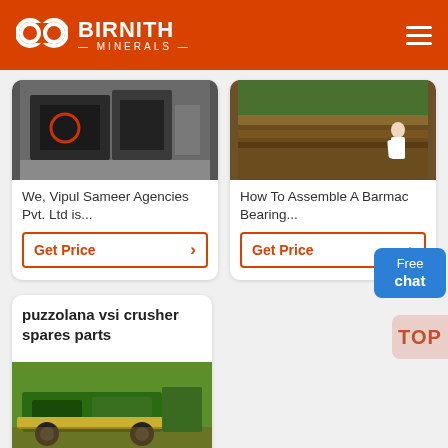BIRNITH MINERALS
[Figure (photo): Industrial crusher machine in a warehouse setting]
We, Vipul Sameer Agencies Pvt. Ltd is...
Get Price
[Figure (photo): Soil/earth cross-section with layered dirt]
How To Assemble A Barmac Bearing...
Get Price
Free chat
puzzolana vsi crusher spares parts
[Figure (photo): Green mobile crusher machine outdoors]
TOP